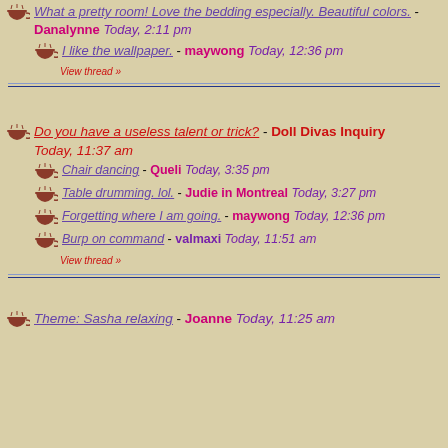What a pretty room! Love the bedding especially. Beautiful colors. - Danalynne Today, 2:11 pm
I like the wallpaper. - maywong Today, 12:36 pm
View thread »
Do you have a useless talent or trick? - Doll Divas Inquiry Today, 11:37 am
Chair dancing - Queli Today, 3:35 pm
Table drumming. lol. - Judie in Montreal Today, 3:27 pm
Forgetting where I am going. - maywong Today, 12:36 pm
Burp on command - valmaxi Today, 11:51 am
View thread »
Theme: Sasha relaxing - Joanne Today, 11:25 am